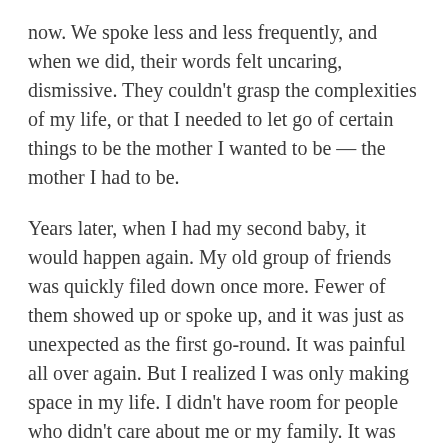now. We spoke less and less frequently, and when we did, their words felt uncaring, dismissive. They couldn't grasp the complexities of my life, or that I needed to let go of certain things to be the mother I wanted to be — the mother I had to be.
Years later, when I had my second baby, it would happen again. My old group of friends was quickly filed down once more. Fewer of them showed up or spoke up, and it was just as unexpected as the first go-round. It was painful all over again. But I realized I was only making space in my life. I didn't have room for people who didn't care about me or my family. It was just part of the sloughing-off process that helps you grow new skin.
6) Finding other mothers is essential